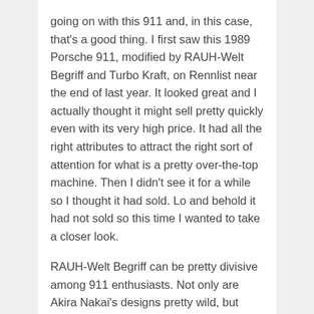going on with this 911 and, in this case, that's a good thing. I first saw this 1989 Porsche 911, modified by RAUH-Welt Begriff and Turbo Kraft, on Rennlist near the end of last year. It looked great and I actually thought it might sell pretty quickly even with its very high price. It had all the right attributes to attract the right sort of attention for what is a pretty over-the-top machine. Then I didn't see it for a while so I thought it had sold. Lo and behold it had not sold so this time I wanted to take a closer look.
RAUH-Welt Begriff can be pretty divisive among 911 enthusiasts. Not only are Akira Nakai's designs pretty wild, but many of his creations entirely...